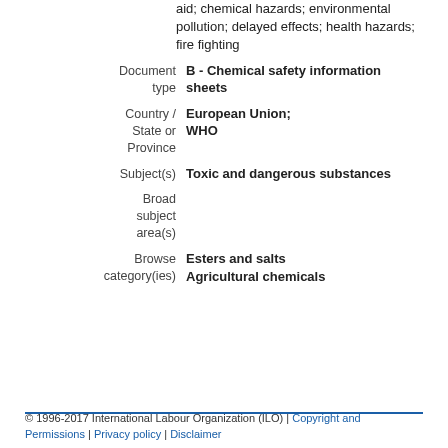aid; chemical hazards; environmental pollution; delayed effects; health hazards; fire fighting
Document type   B - Chemical safety information sheets
Country / State or Province   European Union; WHO
Subject(s)   Toxic and dangerous substances
Broad subject area(s)
Browse category(ies)   Esters and salts   Agricultural chemicals
© 1996-2017 International Labour Organization (ILO) | Copyright and Permissions | Privacy policy | Disclaimer